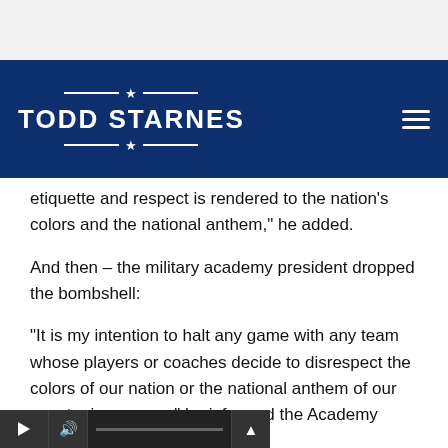[Figure (screenshot): Todd Starnes website navigation bar with dark navy blue background, logo text 'TODD STARNES' in white with decorative lines and stars, and a hamburger menu icon on the right]
etiquette and respect is rendered to the nation's colors and the national anthem," he added.
And then – the military academy president dropped the bombshell:
“It is my intention to halt any game with any team whose players or coaches decide to disrespect the colors of our nation or the national anthem of our country in any way,” he informed the Academy family.
Click here to get an autographed and personalized ...l's latest book!